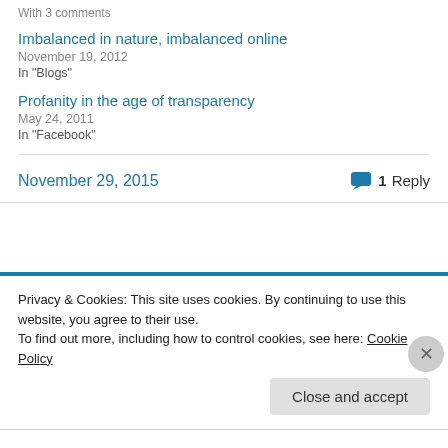With 3 comments
Imbalanced in nature, imbalanced online
November 19, 2012
In "Blogs"
Profanity in the age of transparency
May 24, 2011
In "Facebook"
November 29, 2015
1 Reply
Privacy & Cookies: This site uses cookies. By continuing to use this website, you agree to their use.
To find out more, including how to control cookies, see here: Cookie Policy
Close and accept